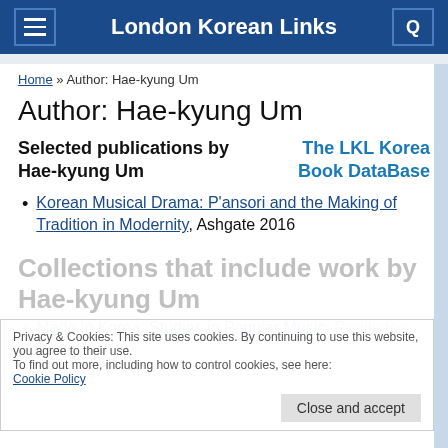London Korean Links
Home » Author: Hae-kyung Um
Author: Hae-kyung Um
Selected publications by Hae-kyung Um
The LKL Korea Book DataBase
Korean Musical Drama: P'ansori and the Making of Tradition in Modernity, Ashgate 2016
Collections that include work by Hae-kyung Um
Privacy & Cookies: This site uses cookies. By continuing to use this website, you agree to their use. To find out more, including how to control cookies, see here: Cookie Policy
Made in Korea: Studies in Popular Music, Routledge 2016